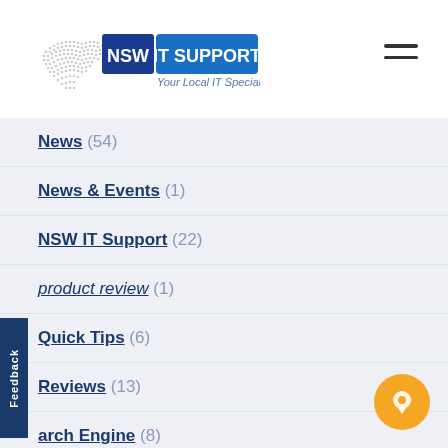[Figure (logo): NSW IT Support logo with dotted map of Australia and blue 'IT SUPPORT' banner reading 'Your Local IT Specialist']
News (54)
News & Events (1)
NSW IT Support (22)
product review (1)
Quick Tips (6)
Reviews (13)
Search Engine (8)
Security (13)
SEO (16)
SMEs (2)